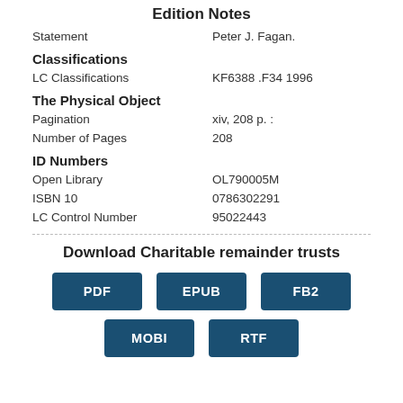Edition Notes
Statement   Peter J. Fagan.
Classifications
LC Classifications   KF6388 .F34 1996
The Physical Object
Pagination   xiv, 208 p. :
Number of Pages   208
ID Numbers
Open Library   OL790005M
ISBN 10   0786302291
LC Control Number   95022443
Download Charitable remainder trusts
PDF   EPUB   FB2
MOBI   RTF